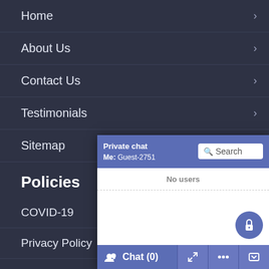Home
About Us
Contact Us
Testimonials
Sitemap
Policies
COVID-19
Privacy Policy
Returns and Exchanges
Pantone Colours
Uniform Management Syste...
[Figure (screenshot): Private chat widget overlay showing 'Private chat / Me: Guest-2751' header with search box, 'No users' message, lock button, and Chat(0) footer with expand, settings, and minimize buttons.]